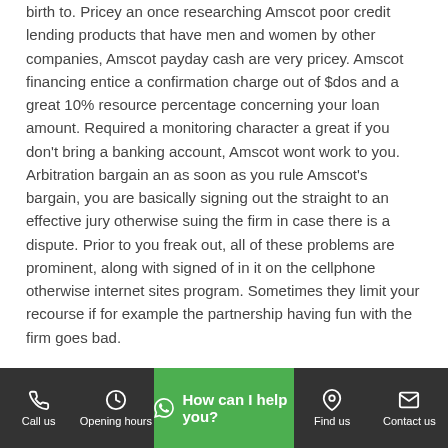birth to. Pricey an once researching Amscot poor credit lending products that have men and women by other companies, Amscot payday cash are very pricey. Amscot financing entice a confirmation charge out of $dos and a great 10% resource percentage concerning your loan amount. Required a monitoring character a great if you don't bring a banking account, Amscot wont work to you. Arbitration bargain an as soon as you rule Amscot's bargain, you are basically signing out the straight to an effective jury otherwise suing the firm in case there is a dispute. Prior to you freak out, all of these problems are prominent, along with signed of in it on the cellphone otherwise internet sites program. Sometimes they limit your recourse if for example the partnership having fun with the firm goes bad.
Exactly how Amscot Works
It's this reason, everyone offers po... is right however actually, it's proven because...